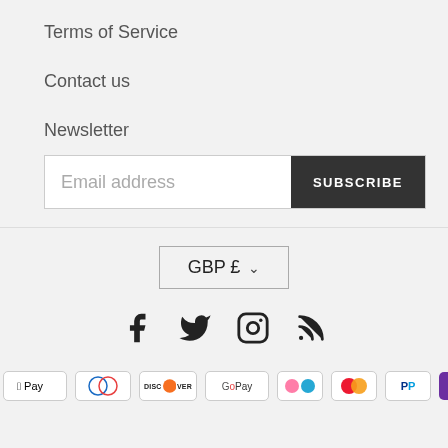Terms of Service
Contact us
Newsletter
[Figure (other): Email address input field with SUBSCRIBE button]
[Figure (other): Currency selector showing GBP £ with dropdown chevron]
[Figure (other): Social media icons: Facebook, Twitter, Instagram, RSS]
[Figure (other): Payment method icons: Amex, Apple Pay, Diners Club, Discover, Google Pay, Klarna, Mastercard, PayPal, OPay]